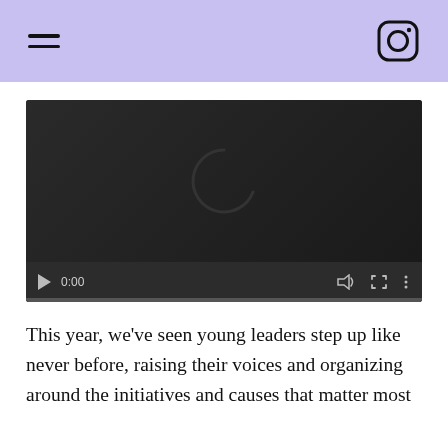[hamburger menu icon] [Instagram icon]
[Figure (screenshot): Embedded video player with dark background, loading spinner (C-shape arc), playback controls showing play button, timestamp 0:00, volume, fullscreen, and more options icons, and a progress bar at bottom.]
This year, we’ve seen young leaders step up like never before, raising their voices and organizing around the initiatives and causes that matter most